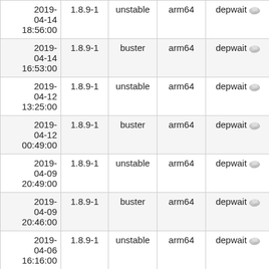| Date | Version | Distribution | Arch | Status | # |
| --- | --- | --- | --- | --- | --- |
| 2019-04-14 18:56:00 | 1.8.9-1 | unstable | arm64 | depwait | 54 |
| 2019-04-14 16:53:00 | 1.8.9-1 | buster | arm64 | depwait | 45 |
| 2019-04-12 13:25:00 | 1.8.9-1 | unstable | arm64 | depwait | 49 |
| 2019-04-12 00:49:00 | 1.8.9-1 | buster | arm64 | depwait | 45 |
| 2019-04-09 20:49:00 | 1.8.9-1 | unstable | arm64 | depwait | 51 |
| 2019-04-09 20:46:00 | 1.8.9-1 | buster | arm64 | depwait | 48 |
| 2019-04-06 16:16:00 | 1.8.9-1 | unstable | arm64 | depwait | 58 |